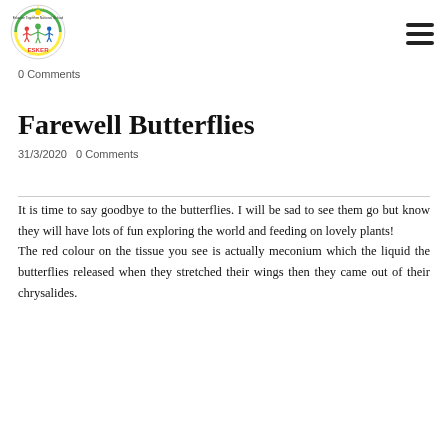Esker Educate Together National School
0 Comments
Farewell Butterflies
31/3/2020   0 Comments
It is time to say goodbye to the butterflies. I will be sad to see them go but know they will have lots of fun exploring the world and feeding on lovely plants!
The red colour on the tissue you see is actually meconium which the liquid the butterflies released when they stretched their wings then they came out of their chrysalides.